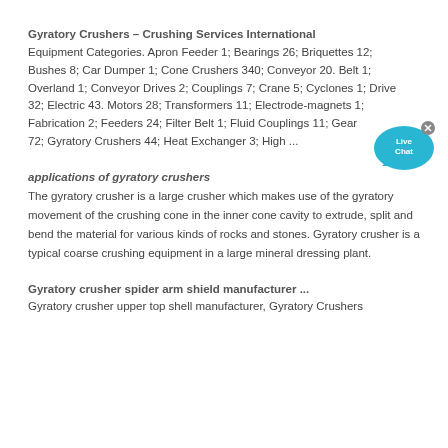Gyratory Crushers – Crushing Services International
Equipment Categories. Apron Feeder 1; Bearings 26; Briquettes 12; Bushes 8; Car Dumper 1; Cone Crushers 340; Conveyor 20. Belt 1; Overland 1; Conveyor Drives 2; Couplings 7; Crane 5; Cyclones 1; Drive 32; Electric 43. Motors 28; Transformers 11; Electrode-magnets 1; Fabrication 2; Feeders 24; Filter Belt 1; Fluid Couplings 11; Gearboxes 72; Gyratory Crushers 44; Heat Exchanger 3; High ...
[Figure (illustration): Live Chat bubble icon with teal/blue color and an X close button]
applications of gyratory crushers
The gyratory crusher is a large crusher which makes use of the gyratory movement of the crushing cone in the inner cone cavity to extrude, split and bend the material for various kinds of rocks and stones. Gyratory crusher is a typical coarse crushing equipment in a large mineral dressing plant.
Gyratory crusher spider arm shield manufacturer ...
Gyratory crusher upper top shell manufacturer, Gyratory Crushers